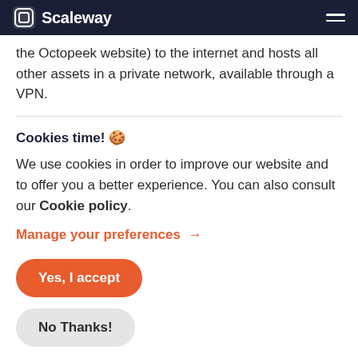Scaleway
the Octopeek website) to the internet and hosts all other assets in a private network, available through a VPN.
Cookies time! 🍪
We use cookies in order to improve our website and to offer you a better experience. You can also consult our Cookie policy.
Manage your preferences →
Yes, I accept
No Thanks!